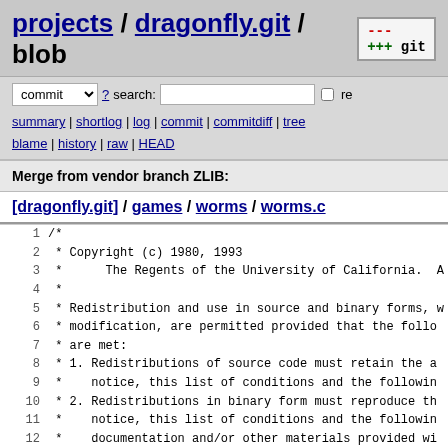projects / dragonfly.git / blob
commit ? search: re
summary | shortlog | log | commit | commitdiff | tree
blame | history | raw | HEAD
Merge from vendor branch ZLIB:
[dragonfly.git] / games / worms / worms.c
1  /*
2   * Copyright (c) 1980, 1993
3   *		The Regents of the University of California.  A
4   *
5   * Redistribution and use in source and binary forms, w
6   * modification, are permitted provided that the follow
7   * are met:
8   * 1. Redistributions of source code must retain the ab
9   *    notice, this list of conditions and the following
10  * 2. Redistributions in binary form must reproduce the
11  *    notice, this list of conditions and the following
12  *    documentation and/or other materials provided wit
13  * 3. All advertising materials mentioning features or
14  *    must display the following acknowledgement:
15  *      This product includes software developed by the
16  *      California, Berkeley and its contributors.
17  * 4. Neither the name of the University nor the names
18  *    may be used to endorse or promote products derive
19  *    without specific prior written permission.